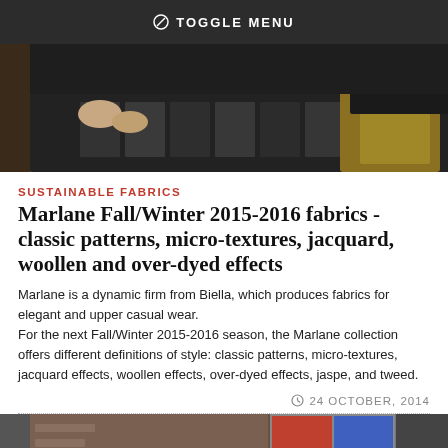TOGGLE MENU
[Figure (photo): Two people examining fabric samples on a dark table, one wearing a suit, another with a decorative gold garment visible]
SUSTAINABLE FABRICS
Marlane Fall/Winter 2015-2016 fabrics - classic patterns, micro-textures, jacquard, woollen and over-dyed effects
Marlane is a dynamic firm from Biella, which produces fabrics for elegant and upper casual wear.
For the next Fall/Winter 2015-2016 season, the Marlane collection offers different definitions of style: classic patterns, micro-textures, jacquard effects, woollen effects, over-dyed effects, jaspe, and tweed.
24 OCTOBER, 2014
[Figure (photo): Row of smaller images showing fabric or fashion-related scenes]